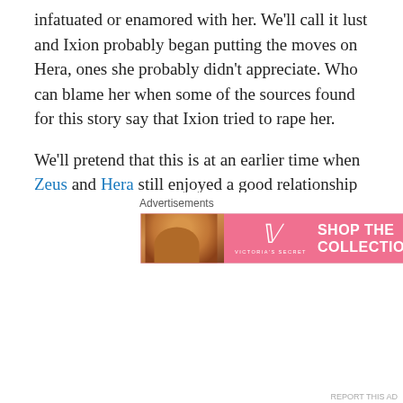infatuated or enamored with her. We'll call it lust and Ixion probably began putting the moves on Hera, ones she probably didn't appreciate. Who can blame her when some of the sources found for this story say that Ixion tried to rape her.
We'll pretend that this is at an earlier time when Zeus and Hera still enjoyed a good relationship and we don't have all of these other stories of Zeus having numerous affairs with all these other women and numerous resulting children.
Shocked, Zeus couldn't believe what he was hearing from Hera about Ixion. This man whom Zeus has purified is a
Advertisements
[Figure (photo): Victoria's Secret advertisement banner with a woman model on the left, VS logo in center, 'SHOP THE COLLECTION' text, and a 'SHOP NOW' button on the right, pink background.]